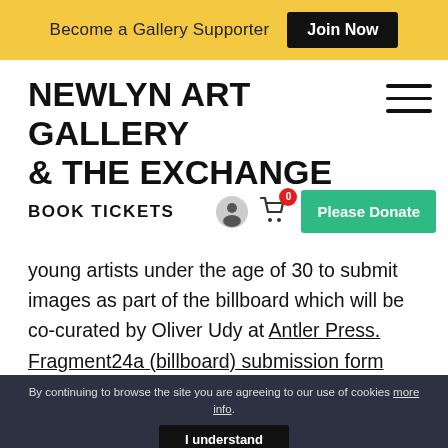Become a Gallery Supporter  Join Now
NEWLYN ART GALLERY & THE EXCHANGE
BOOK TICKETS
young artists under the age of 30 to submit images as part of the billboard which will be co-curated by Oliver Udy at Antler Press.
Fragment24a (billboard) submission form
By continuing to browse the site you are agreeing to our use of cookies more info.
I understand